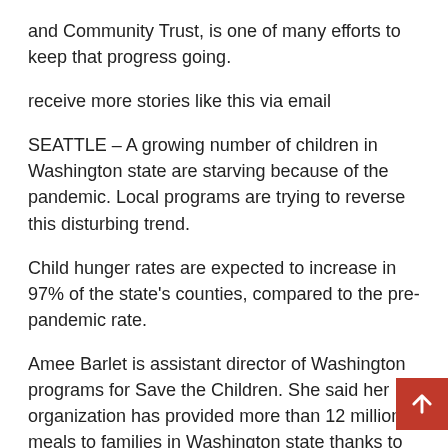and Community Trust, is one of many efforts to keep that progress going.
receive more stories like this via email
SEATTLE – A growing number of children in Washington state are starving because of the pandemic. Local programs are trying to reverse this disturbing trend.
Child hunger rates are expected to increase in 97% of the state's counties, compared to the pre-pandemic rate.
Amee Barlet is assistant director of Washington programs for Save the Children. She said her organization has provided more than 12 million meals to families in Washington state thanks to local people since the pandemic began.
“The community knows what they need,” Barlet says. “We know that working with communities is the best